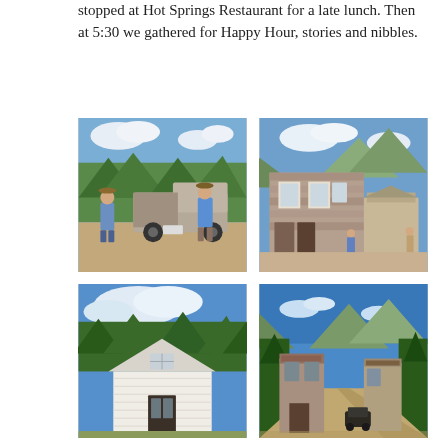stopped at Hot Springs Restaurant for a late lunch. Then at 5:30 we gathered for Happy Hour, stories and nibbles.
[Figure (photo): Two people standing behind a pickup truck in a dirt parking area with mountains and trees in the background]
[Figure (photo): Old historic stone and wood building storefront in a mountain town with people visible near the entrance]
[Figure (photo): White clapboard historic church or schoolhouse building with trees and blue sky behind it]
[Figure (photo): Dirt main street of a historic mountain town with old buildings on both sides and mountains in the background]